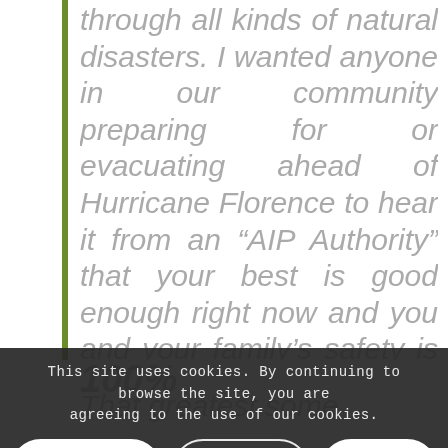through all kinds of natural disasters. I wanted anyone in our community preparing for or evacuating ahead of Hurricane Florence to hear it from an “AIP Authority” that your best is good enough right now and you and your family’s safety is priority number one ..
100%
That greatest some
This site uses cookies. By continuing to browse the site, you are agreeing to the use of our cookies.